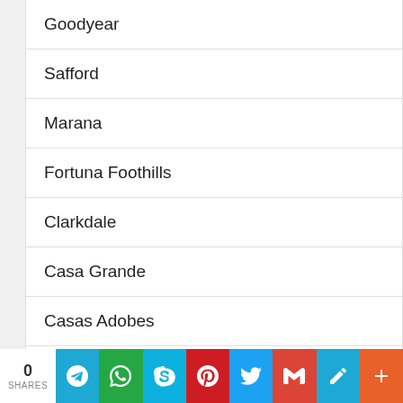Goodyear
Safford
Marana
Fortuna Foothills
Clarkdale
Casa Grande
Casas Adobes
Gilbert
Prescott Valley
Paradise Valley
0 SHARES